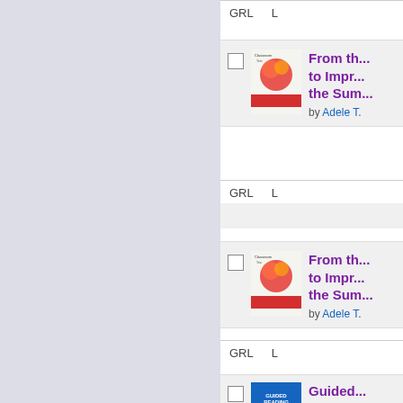[Figure (screenshot): Left panel with lavender/periwinkle background, navigation sidebar]
| GRL | L |
| --- | --- |
[Figure (illustration): Book cover: From the Classroom to Improve the Sum, by Adele T.]
From th... to Impr... the Sum...
by Adele T.
| GRL | L |
| --- | --- |
[Figure (illustration): Book cover: From the Classroom to Improve the Sum, by Adele T.]
From th... to Impr... the Sum...
by Adele T.
| GRL | L |
| --- | --- |
Guided